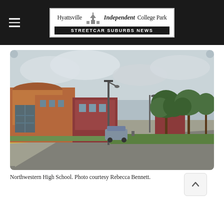Hyattsville Independent College Park — STREETCAR SUBURBS NEWS
[Figure (photo): Exterior photograph of Northwestern High School building with parking lot, trees, and overcast sky. Photo courtesy Rebecca Bennett.]
Northwestern High School. Photo courtesy Rebecca Bennett.